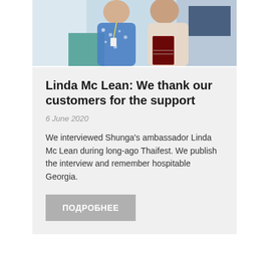[Figure (photo): Two women standing together; one in a blue floral top with a lanyard, one in a light pink shirt holding a book/box.]
Linda Mc Lean: We thank our customers for the support
6 June 2020
We interviewed Shunga’s ambassador Linda Mc Lean during long-ago Thaifest. We publish the interview and remember hospitable Georgia.
ПОДРОБНЕЕ